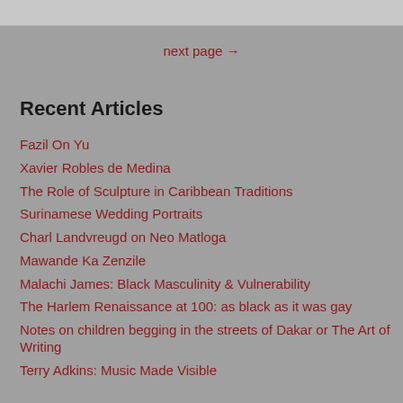next page →
Recent Articles
Fazil On Yu
Xavier Robles de Medina
The Role of Sculpture in Caribbean Traditions
Surinamese Wedding Portraits
Charl Landvreugd on Neo Matloga
Mawande Ka Zenzile
Malachi James: Black Masculinity & Vulnerability
The Harlem Renaissance at 100: as black as it was gay
Notes on children begging in the streets of Dakar or The Art of Writing
Terry Adkins: Music Made Visible